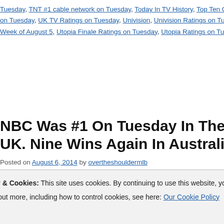Tuesday, TNT #1 cable network on Tuesday, Today In TV History, Top Ten Ca... on Tuesday, UK TV Ratings on Tuesday, Univision, Univision Ratings on Tue... Week of August 5, Utopia Finale Ratings on Tuesday, Utopia Ratings on Tue...
NBC Was #1 On Tuesday In The U.S. BBC... UK. Nine Wins Again In Australia.
Posted on August 6, 2014 by overtheshouldermlb
Today, traditional TV still accounts for the lion's share of video... where the growth is. From fourth quarter 2012 to fourth-quarter... watching online video grew 30%. When managed together, … C
Posted in Audience Analysis, Audience Management, Broadcast TV Ratings i... UK, Broadcast TV Ratings in US, Cable TV Ratings, Daily Broadcast Ratings... Ratings, Media Management, Television Program Renewals, Television Ratin...
Privacy & Cookies: This site uses cookies. By continuing to use this website, you agree to their use.
To find out more, including how to control cookies, see here: Our Cookie Policy
Close and accept
Fighters Ratings on Tuesday, FOX, FOX Ratings on Tuesday, Home and Au...